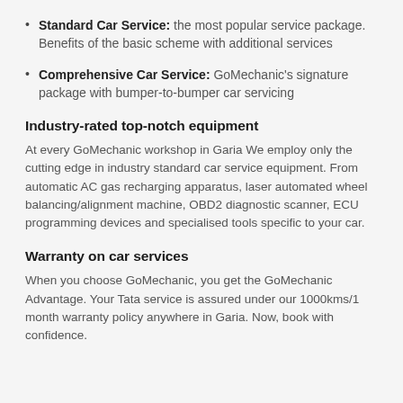Standard Car Service: the most popular service package. Benefits of the basic scheme with additional services
Comprehensive Car Service: GoMechanic's signature package with bumper-to-bumper car servicing
Industry-rated top-notch equipment
At every GoMechanic workshop in Garia We employ only the cutting edge in industry standard car service equipment. From automatic AC gas recharging apparatus, laser automated wheel balancing/alignment machine, OBD2 diagnostic scanner, ECU programming devices and specialised tools specific to your car.
Warranty on car services
When you choose GoMechanic, you get the GoMechanic Advantage. Your Tata service is assured under our 1000kms/1 month warranty policy anywhere in Garia. Now, book with confidence.